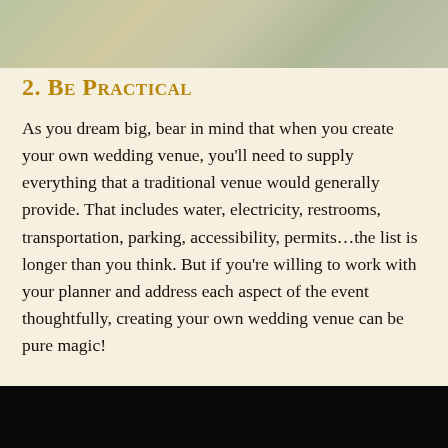[Figure (photo): Top decorative image, soft muted tones, appears to show a floral or nature scene with pale greens and creams]
2. Be Practical
As you dream big, bear in mind that when you create your own wedding venue, you'll need to supply everything that a traditional venue would generally provide. That includes water, electricity, restrooms, transportation, parking, accessibility, permits…the list is longer than you think. But if you're willing to work with your planner and address each aspect of the event thoughtfully, creating your own wedding venue can be pure magic!
[Figure (photo): Bottom image, mostly black/dark, partial image cropped at bottom of page]